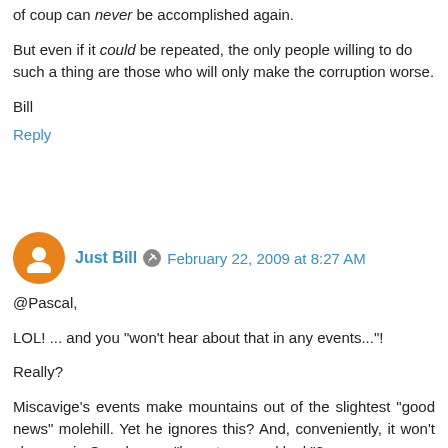of coup can never be accomplished again.
But even if it could be repeated, the only people willing to do such a thing are those who will only make the corruption worse.
Bill
Reply
Just Bill  February 22, 2009 at 8:27 AM
@Pascal,
LOL! ... and you "won't hear about that in any events..."!
Really?
Miscavige's events make mountains out of the slightest "good news" molehill. Yet he ignores this? And, conveniently, it won't show up in Google, you "have to go and look"?